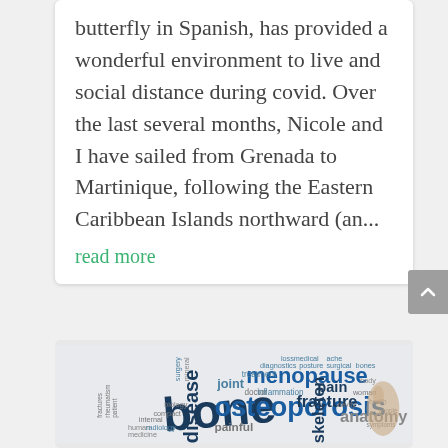butterfly in Spanish, has provided a wonderful environment to live and social distance during covid. Over the last several months, Nicole and I have sailed from Grenada to Martinique, following the Eastern Caribbean Islands northward (an...
read more
[Figure (illustration): Word cloud related to osteoporosis and bone health, featuring large words like 'bone', 'osteoporosis', 'menopause', 'pain', 'fracture', 'anatomy' and smaller medical terms like 'joint', 'treatment', 'biology', 'radiology', 'inflammation', 'diagnostics', 'posture', 'surgical', 'doctor', 'mineral', 'human', 'medicine', 'compact', 'loss', 'medical', 'ache', 'woman', 'cavity', 'health', 'people']